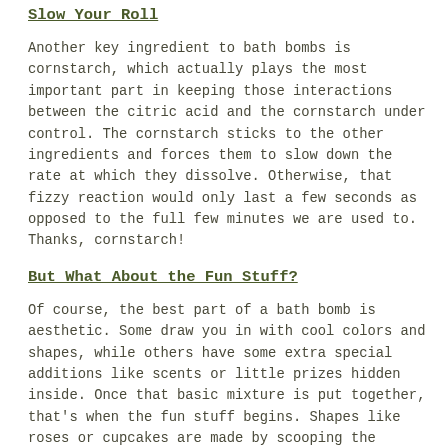Slow Your Roll
Another key ingredient to bath bombs is cornstarch, which actually plays the most important part in keeping those interactions between the citric acid and the cornstarch under control. The cornstarch sticks to the other ingredients and forces them to slow down the rate at which they dissolve. Otherwise, that fizzy reaction would only last a few seconds as opposed to the full few minutes we are used to. Thanks, cornstarch!
But What About the Fun Stuff?
Of course, the best part of a bath bomb is aesthetic. Some draw you in with cool colors and shapes, while others have some extra special additions like scents or little prizes hidden inside. Once that basic mixture is put together, that's when the fun stuff begins. Shapes like roses or cupcakes are made by scooping the mixture into a mold and leaving it in overnight to form to the shape. The colors typically come from the same FDA approved colorants that are used in cosmetics. Essential oils like lavender or amber are